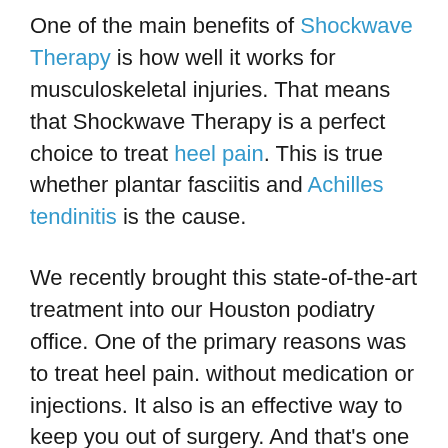One of the main benefits of Shockwave Therapy is how well it works for musculoskeletal injuries. That means that Shockwave Therapy is a perfect choice to treat heel pain. This is true whether plantar fasciitis and Achilles tendinitis is the cause.
We recently brought this state-of-the-art treatment into our Houston podiatry office. One of the primary reasons was to treat heel pain. without medication or injections. It also is an effective way to keep you out of surgery. And that's one of the goals of life...to stay away from surgery.